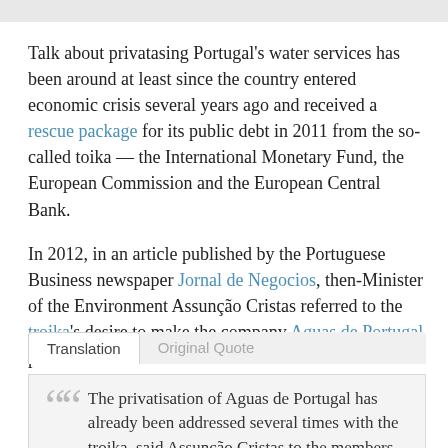Talk about privatasing Portugal's water services has been around at least since the country entered economic crisis several years ago and received a rescue package for its public debt in 2011 from the so-called toika — the International Monetary Fund, the European Commission and the European Central Bank.
In 2012, in an article published by the Portuguese Business newspaper Jornal de Negocios, then-Minister of the Environment Assunção Cristas referred to the troika's desire to make the company Aguas de Portugal private:
Translation | Original Quote
The privatisation of Aguas de Portugal has already been addressed several times with the troika, said Assunção Cristas to the members of